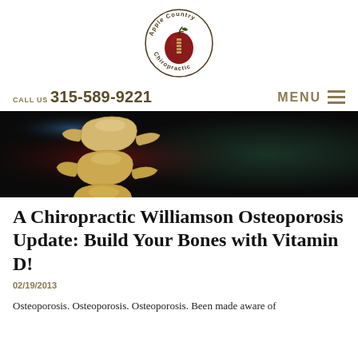[Figure (logo): Apple Country Chiropractic circular logo with a red apple in the center and text around the border]
CALL US 315-589-9221   MENU
[Figure (photo): Medical illustration of vertebral spine bones against a dark red and black glowing background]
A Chiropractic Williamson Osteoporosis Update: Build Your Bones with Vitamin D!
02/19/2013
Osteoporosis. Osteoporosis. Osteoporosis. Been made aware of